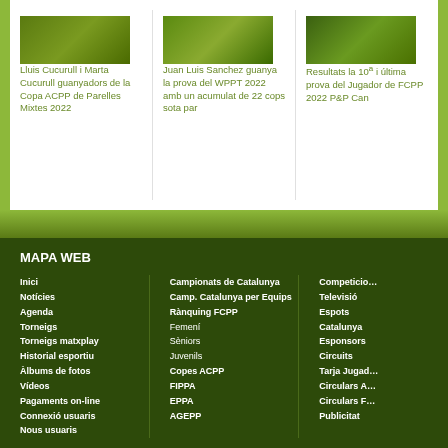[Figure (photo): Thumbnail photo of Lluis Cucurull and Marta Cucurull]
Lluis Cucurull i Marta Cucurull guanyadors de la Copa ACPP de Parelles Mixtes 2022
[Figure (photo): Thumbnail photo related to Juan Luis Sanchez WPPT 2022]
Juan Luis Sanchez guanya la prova del WPPT 2022 amb un acumulat de 22 cops sota par
[Figure (photo): Thumbnail photo of Resultats la 10a i última prova del Jugador de FCPP 2022 P&P Can]
Resultats la 10a i última prova del Jugador de FCPP 2022 P&P Can
MAPA WEB
Inici
Notícies
Agenda
Torneigs
Torneigs matxplay
Historial esportiu
Àlbums de fotos
Vídeos
Pagaments on-line
Connexió usuaris
Nous usuaris
Campionats de Catalunya
Camp. Catalunya per Equips
Rànquing FCPP
Femení
Sèniors
Juvenils
Copes ACPP
FIPPA
EPPA
AGEPP
Competicio…
Televisió
Espots
Catalunya
Esponsors
Circuits
Tarja Jugad…
Circulars A…
Circulars F…
Publicitat